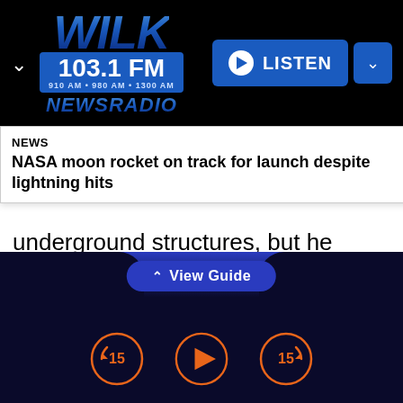[Figure (logo): WILK 103.1 FM Newsradio logo on black background with blue styling, and a LISTEN button on the right]
NEWS
NASA moon rocket on track for launch despite lightning hits
underground structures, but he noted that "the shelling has intensified, and even concrete shelters can't withstand the bombardment." The Russians were using their entire arsenal — heavy artillery, tanks and aircraft — he said.
[Figure (screenshot): Bottom navigation bar with View Guide button and playback controls (rewind 15, play, forward 15) on dark blue background]